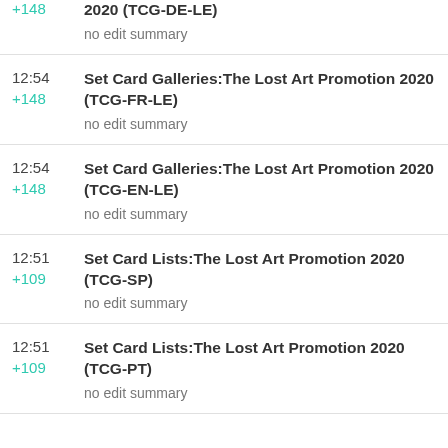+148
2020 (TCG-DE-LE)
no edit summary
12:54
+148
Set Card Galleries:The Lost Art Promotion 2020 (TCG-FR-LE)
no edit summary
12:54
+148
Set Card Galleries:The Lost Art Promotion 2020 (TCG-EN-LE)
no edit summary
12:51
+109
Set Card Lists:The Lost Art Promotion 2020 (TCG-SP)
no edit summary
12:51
+109
Set Card Lists:The Lost Art Promotion 2020 (TCG-PT)
no edit summary